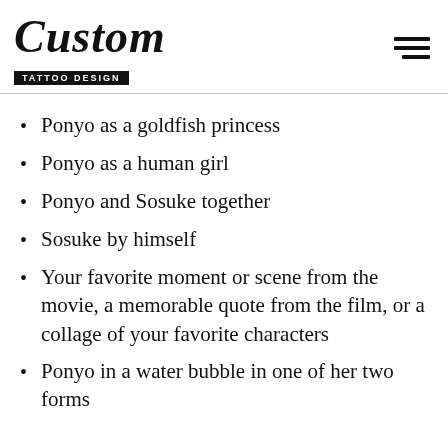Custom Tattoo Design
Ponyo as a goldfish princess
Ponyo as a human girl
Ponyo and Sosuke together
Sosuke by himself
Your favorite moment or scene from the movie, a memorable quote from the film, or a collage of your favorite characters
Ponyo in a water bubble in one of her two forms